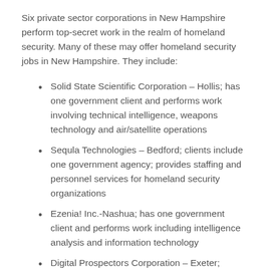Six private sector corporations in New Hampshire perform top-secret work in the realm of homeland security. Many of these may offer homeland security jobs in New Hampshire. They include:
Solid State Scientific Corporation – Hollis; has one government client and performs work involving technical intelligence, weapons technology and air/satellite operations
Sequla Technologies – Bedford; clients include one government agency; provides staffing and personnel services for homeland security organizations
Ezenia! Inc.-Nashua; has one government client and performs work including intelligence analysis and information technology
Digital Prospectors Corporation – Exeter; clients